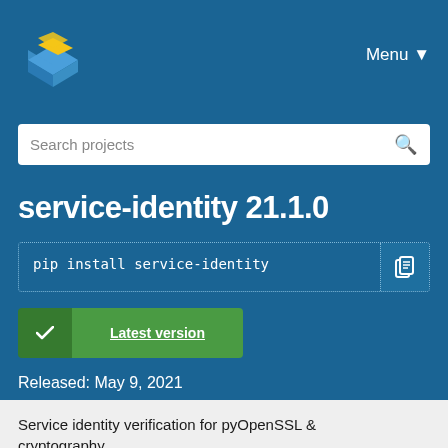[Figure (logo): PyPI logo - a 3D box illustration with blue and yellow colors]
Menu ▼
Search projects
service-identity 21.1.0
pip install service-identity
Latest version
Released: May 9, 2021
Service identity verification for pyOpenSSL & cryptography